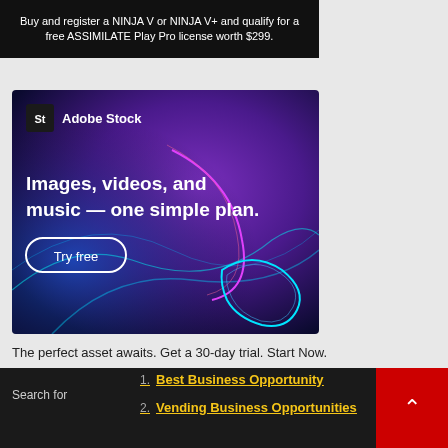[Figure (screenshot): Top dark banner ad: Buy and register a NINJA V or NINJA V+ and qualify for a free ASSIMILATE Play Pro license worth $299.]
[Figure (screenshot): Adobe Stock advertisement banner. Purple/blue gradient background with glowing neon light curves. Adobe Stock logo top-left with 'St' icon. Text: Images, videos, and music — one simple plan. Try free button.]
The perfect asset awaits. Get a 30-day trial. Start Now.
Search for
1. Best Business Opportunity
2. Vending Business Opportunities